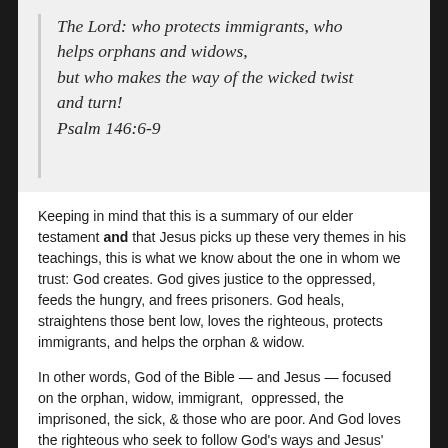The Lord: who protects immigrants, who helps orphans and widows, but who makes the way of the wicked twist and turn! Psalm 146:6-9
Keeping in mind that this is a summary of our elder testament and that Jesus picks up these very themes in his teachings, this is what we know about the one in whom we trust: God creates. God gives justice to the oppressed, feeds the hungry, and frees prisoners. God heals, straightens those bent low, loves the righteous, protects immigrants, and helps the orphan & widow.
In other words, God of the Bible — and Jesus — focused on the orphan, widow, immigrant, oppressed, the imprisoned, the sick, & those who are poor. And God loves the righteous who seek to follow God's ways and Jesus' teachings.